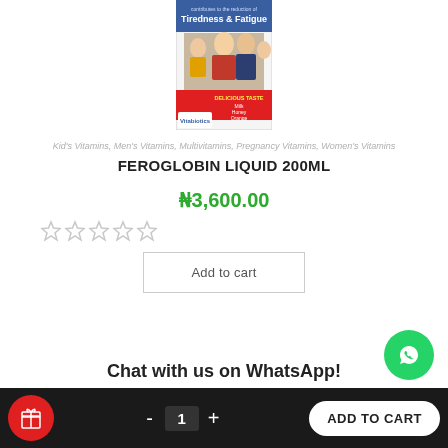[Figure (photo): Feroglobin Liquid 200ml product bottle/box image. Shows a family (man, woman, child) with text 'Tiredness & Fatigue' and 'Delicious Taste, Milk, Honey, Orange' on red banner.]
Kid's Vitamins, Men's Vitamins, Multivitamins, Pregnancy Vitamins, Women's Vitamins
FEROGLOBIN LIQUID 200ML
₦3,600.00
[Figure (other): Five-star rating widget showing 5 empty/grey stars]
Add to cart
Chat with us on WhatsApp!
- 1 + ADD TO CART